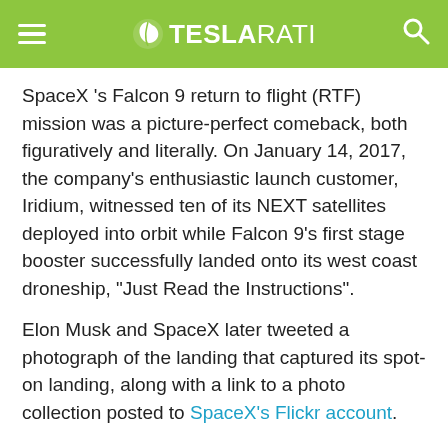TESLARATI
SpaceX’s Falcon 9 return to flight (RTF) mission was a picture-perfect comeback, both figuratively and literally. On January 14, 2017, the company’s enthusiastic launch customer, Iridium, witnessed ten of its NEXT satellites deployed into orbit while Falcon 9’s first stage booster successfully landed onto its west coast droneship, “Just Read the Instructions”.
Elon Musk and SpaceX later tweeted a photograph of the landing that captured its spot-on landing, along with a link to a photo collection posted to SpaceX’s Flickr account.
Updated launch and landing photos →